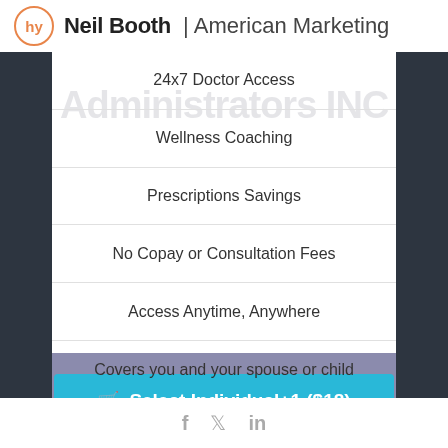hy  Neil Booth | American Marketing
Administrators INC
24x7 Doctor Access
Wellness Coaching
Prescriptions Savings
No Copay or Consultation Fees
Access Anytime, Anywhere
Covers you and your spouse or child
Select Individual+1 ($18)
f  in